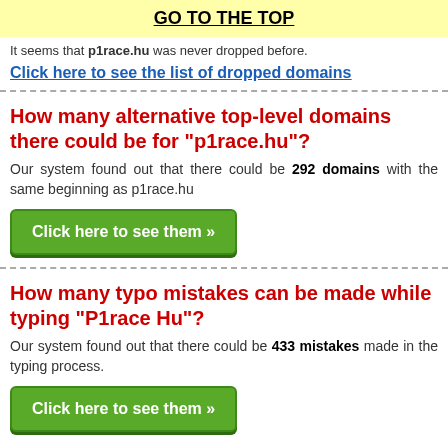GO TO THE TOP
It seems that p1race.hu was never dropped before.
Click here to see the list of dropped domains
How many alternative top-level domains there could be for "p1race.hu"?
Our system found out that there could be 292 domains with the same beginning as p1race.hu
Click here to see them »
How many typo mistakes can be made while typing "P1race Hu"?
Our system found out that there could be 433 mistakes made in the typing process.
Click here to see them »